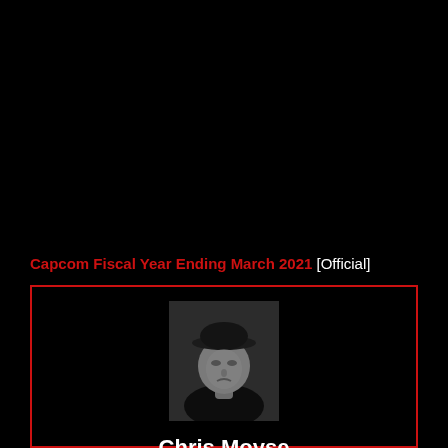Capcom Fiscal Year Ending March 2021 [Official]
[Figure (photo): Black and white profile photo of Chris Moyse wearing a hat, looking upward]
Chris Moyse
Senior Editor - Chris has been playing video